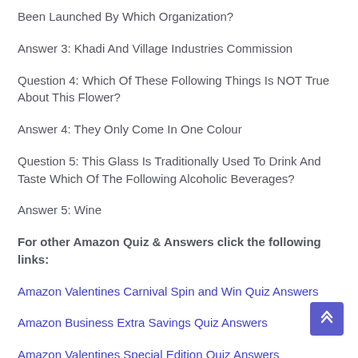Been Launched By Which Organization?
Answer 3: Khadi And Village Industries Commission
Question 4: Which Of These Following Things Is NOT True About This Flower?
Answer 4: They Only Come In One Colour
Question 5: This Glass Is Traditionally Used To Drink And Taste Which Of The Following Alcoholic Beverages?
Answer 5: Wine
For other Amazon Quiz & Answers click the following links:
Amazon Valentines Carnival Spin and Win Quiz Answers
Amazon Business Extra Savings Quiz Answers
Amazon Valentines Special Edition Quiz Answers